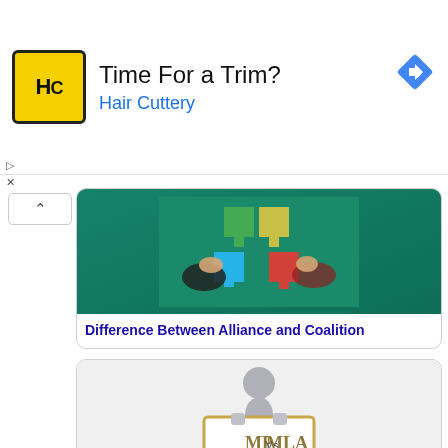[Figure (screenshot): Ad banner for Hair Cuttery: logo with HC letters on yellow background, title 'Time For a Trim?', subtitle 'Hair Cuttery' in blue, navigation arrow icon on right]
[Figure (illustration): Thumbnail image of two hands assembling colorful puzzle pieces (blue, yellow, green, red) on a green background]
Difference Between Alliance and Coalition
[Figure (illustration): Thumbnail image of a 3D character holding a sign that reads 'MP Vs MLA']
Difference Between MLA and MP